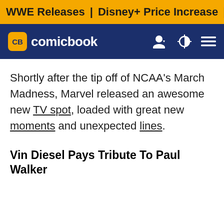WWE Releases | Disney+ Price Increase | HBO's The Last of
CB comicbook
Shortly after the tip off of NCAA's March Madness, Marvel released an awesome new TV spot, loaded with great new moments and unexpected lines.
Vin Diesel Pays Tribute To Paul Walker